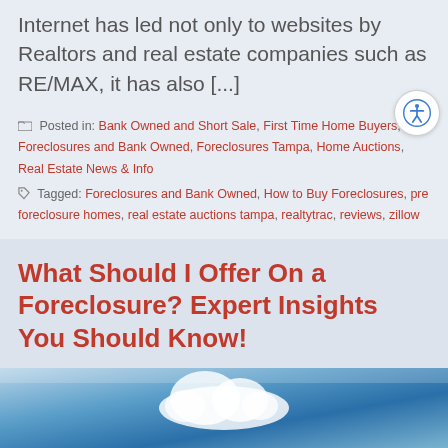Internet has led not only to websites by Realtors and real estate companies such as RE/MAX, it has also [...]
Posted in: Bank Owned and Short Sale, First Time Home Buyers, Foreclosures and Bank Owned, Foreclosures Tampa, Home Auctions, Real Estate News & Info Tagged: Foreclosures and Bank Owned, How to Buy Foreclosures, pre foreclosure homes, real estate auctions tampa, realtytrac, reviews, zillow
What Should I Offer On a Foreclosure? Expert Insights You Should Know!
[Figure (photo): Aerial or outdoor photo with clouds and blue sky, partial view at bottom of page]